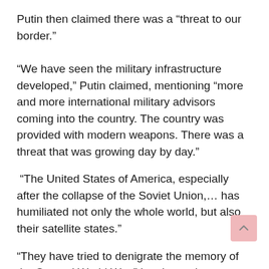Putin then claimed there was a “threat to our border.”
“We have seen the military infrastructure developed,” Putin claimed, mentioning “more and more international military advisors coming into the country. The country was provided with modern weapons. There was a threat that was growing day by day.”
“The United States of America, especially after the collapse of the Soviet Union,… has humiliated not only the whole world, but also their satellite states.”
“They have tried to denigrate the memory of the Second World War,” he charged.
Putin also claimed that “the enemies of our country have tried to use international terrorism against us,” likely referring to the increased sanctions against Russia and the opinion of Russian allies claiming to...